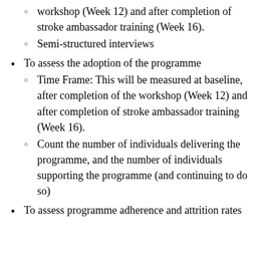workshop (Week 12) and after completion of stroke ambassador training (Week 16).
Semi-structured interviews
To assess the adoption of the programme
Time Frame: This will be measured at baseline, after completion of the workshop (Week 12) and after completion of stroke ambassador training (Week 16).
Count the number of individuals delivering the programme, and the number of individuals supporting the programme (and continuing to do so)
To assess programme adherence and attrition rates